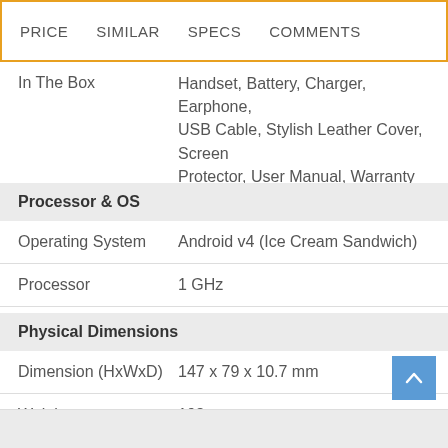PRICE  SIMILAR  SPECS  COMMENTS
| Spec | Value |
| --- | --- |
| In The Box | Handset, Battery, Charger, Earphone, USB Cable, Stylish Leather Cover, Screen Protector, User Manual, Warranty Card |
| Processor & OS |  |
| Operating System | Android v4 (Ice Cream Sandwich) |
| Processor | 1 GHz |
| Physical Dimensions |  |
| Dimension (HxWxD) | 147 x 79 x 10.7 mm |
| Weight | 198 g |